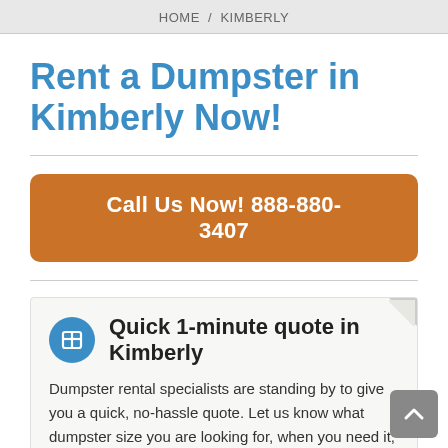HOME / KIMBERLY
Rent a Dumpster in Kimberly Now!
Call Us Now! 888-880-3407
Quick 1-minute quote in Kimberly
Dumpster rental specialists are standing by to give you a quick, no-hassle quote. Let us know what dumpster size you are looking for, when you need it, and what zip code